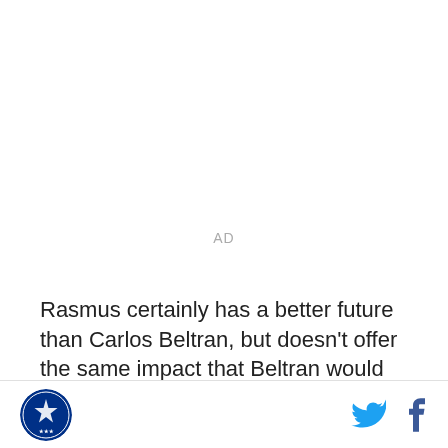AD
Rasmus certainly has a better future than Carlos Beltran, but doesn't offer the same impact that Beltran would for the next two months and would certainly cost more to acquire. It's a dicey situation, but if the
Logo and social icons